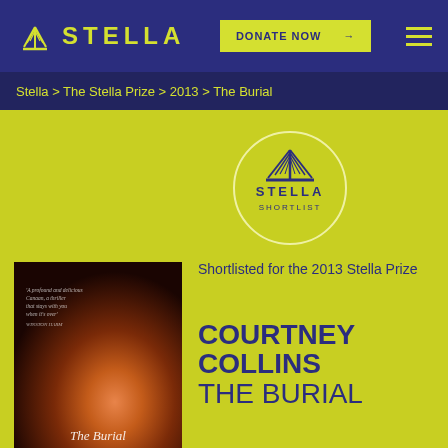STELLA | DONATE NOW →
Stella > The Stella Prize > 2013 > The Burial
[Figure (logo): Stella Prize Shortlist circular badge with sunburst logo and text STELLA SHORTLIST]
Shortlisted for the 2013 Stella Prize
COURTNEY COLLINS THE BURIAL
[Figure (photo): Book cover of The Burial by Courtney Collins, with dark reddish-brown nebula/cosmic background and italic title text at bottom]